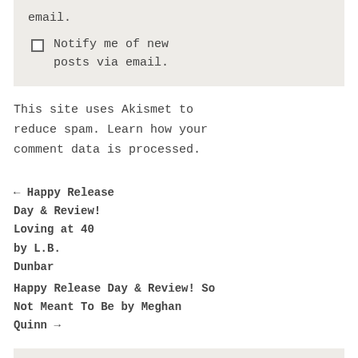email.
Notify me of new posts via email.
This site uses Akismet to reduce spam. Learn how your comment data is processed.
← Happy Release Day & Review! Loving at 40 by L.B. Dunbar
Happy Release Day & Review! So Not Meant To Be by Meghan Quinn →